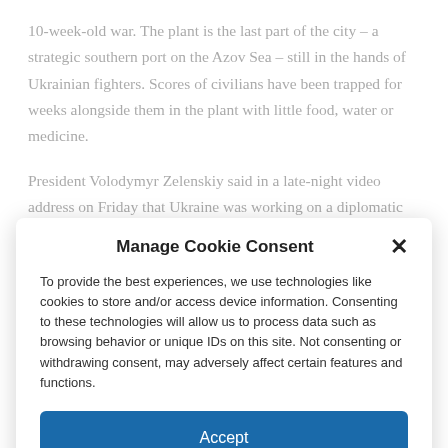10-week-old war. The plant is the last part of the city – a strategic southern port on the Azov Sea – still in the hands of Ukrainian fighters. Scores of civilians have been trapped for weeks alongside them in the plant with little food, water or medicine.
President Volodymyr Zelenskiy said in a late-night video address on Friday that Ukraine was working on a diplomatic effort to save
Manage Cookie Consent
To provide the best experiences, we use technologies like cookies to store and/or access device information. Consenting to these technologies will allow us to process data such as browsing behavior or unique IDs on this site. Not consenting or withdrawing consent, may adversely affect certain features and functions.
Accept
Cookie Policy   Privacy Policy